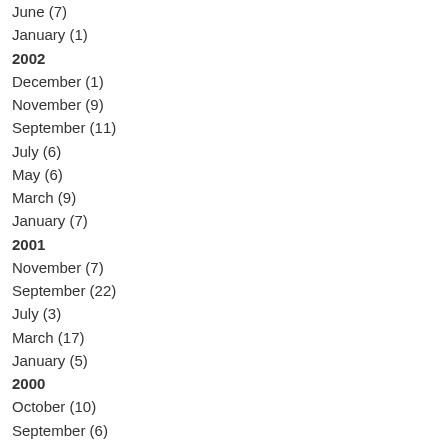June (7)
January (1)
2002
December (1)
November (9)
September (11)
July (6)
May (6)
March (9)
January (7)
2001
November (7)
September (22)
July (3)
March (17)
January (5)
2000
October (10)
September (6)
July (6)
June (11)
February (12)
1999
September (9)
August (5)
June (9)
May (14)
March (5)